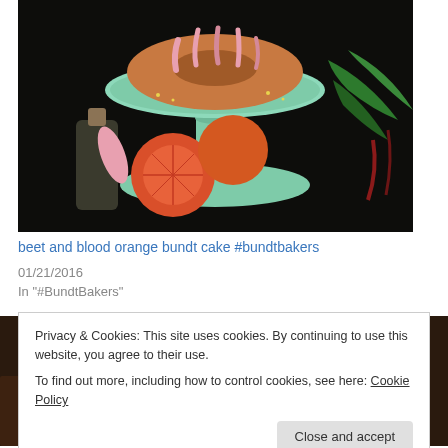[Figure (photo): A bundt cake with pink icing on a mint green cake stand, surrounded by blood oranges, a glass bottle with cork, a pink juicer, and green leafy vegetables on a dark background.]
beet and blood orange bundt cake #bundtbakers
01/21/2016
In "#BundtBakers"
[Figure (photo): Partial view of a dark brown food item at the bottom of the page.]
Privacy & Cookies: This site uses cookies. By continuing to use this website, you agree to their use.
To find out more, including how to control cookies, see here: Cookie Policy
Close and accept